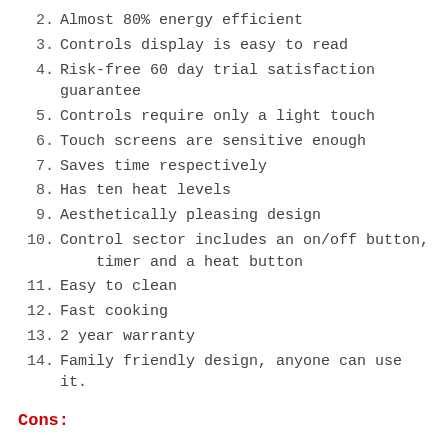2. Almost 80% energy efficient
3. Controls display is easy to read
4. Risk-free 60 day trial satisfaction guarantee
5. Controls require only a light touch
6. Touch screens are sensitive enough
7. Saves time respectively
8. Has ten heat levels
9. Aesthetically pleasing design
10. Control sector includes an on/off button, timer and a heat button
11. Easy to clean
12. Fast cooking
13. 2 year warranty
14. Family friendly design, anyone can use it.
Cons: